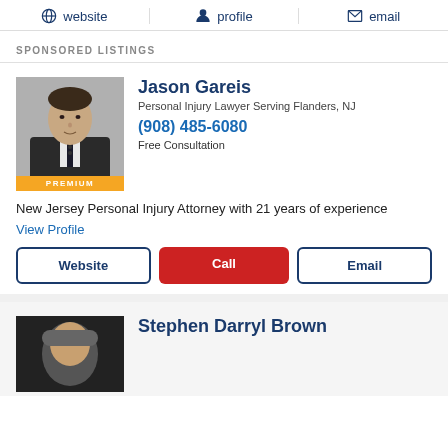website | profile | email
SPONSORED LISTINGS
[Figure (photo): Headshot of attorney Jason Gareis in a dark suit with tie, PREMIUM badge at bottom]
Jason Gareis
Personal Injury Lawyer Serving Flanders, NJ
(908) 485-6080
Free Consultation
New Jersey Personal Injury Attorney with 21 years of experience
View Profile
Website | Call | Email
[Figure (photo): Headshot of attorney Stephen Darryl Brown]
Stephen Darryl Brown